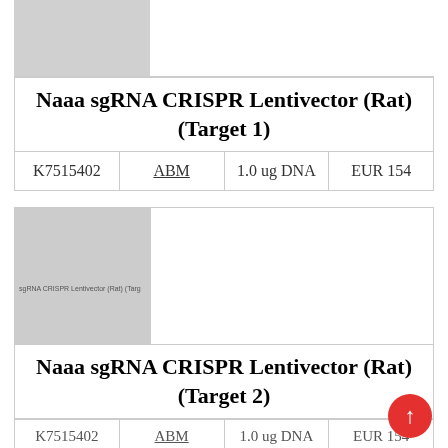[Figure (photo): Gray placeholder image for product 1]
Naaa sgRNA CRISPR Lentivector (Rat) (Target 1)
| K7515402 | ABM | 1.0 ug DNA | EUR 154 |
| --- | --- | --- | --- |
[Figure (photo): Gray placeholder image for product 2 with faint text overlay]
Naaa sgRNA CRISPR Lentivector (Rat) (Target 2)
| K7515402 | ABM | 1.0 ug DNA | EUR 154 |
| --- | --- | --- | --- |